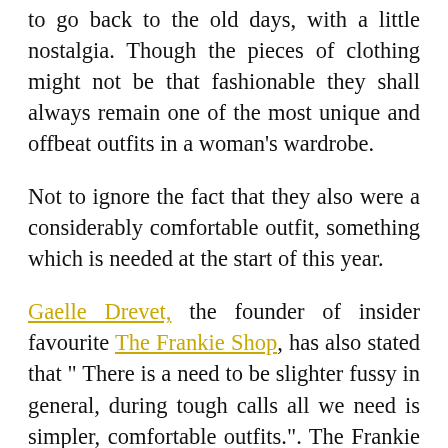to go back to the old days, with a little nostalgia. Though the pieces of clothing might not be that fashionable they shall always remain one of the most unique and offbeat outfits in a woman's wardrobe.
Not to ignore the fact that they also were a considerably comfortable outfit, something which is needed at the start of this year.
Gaelle Drevet, the founder of insider favourite The Frankie Shop, has also stated that " There is a need to be slighter fussy in general, during tough calls all we need is simpler, comfortable outfits.". The Frankie shop is famous for its minimal,